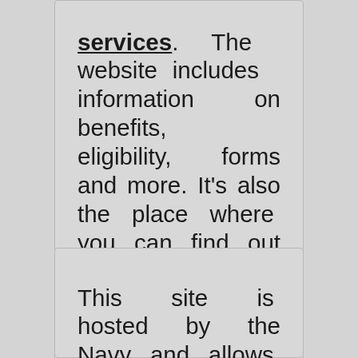services. The website includes information on benefits, eligibility, forms and more. It's also the place where you can find out about various programs that are available to help with education, health care and employment.
This site is hosted by the Navy and allows for Navy personnel to login with a username and password in